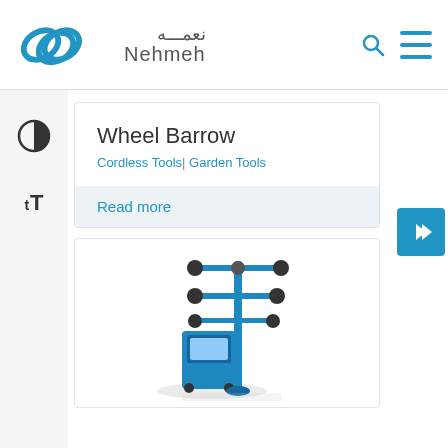Nehmeh نعمه - website header with logo, search and menu icons
Wheel Barrow
Cordless Tools | Garden Tools
Read more
[Figure (photo): Blue wheel alignment machine with camera arms on a stand, shown in product card below]